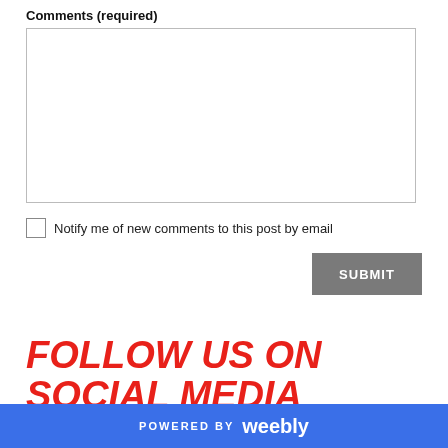Comments (required)
[Figure (other): Empty comment text area input box with border]
Notify me of new comments to this post by email
[Figure (other): Submit button, gray background, white uppercase text SUBMIT]
FOLLOW US ON SOCIAL MEDIA
POWERED BY weebly